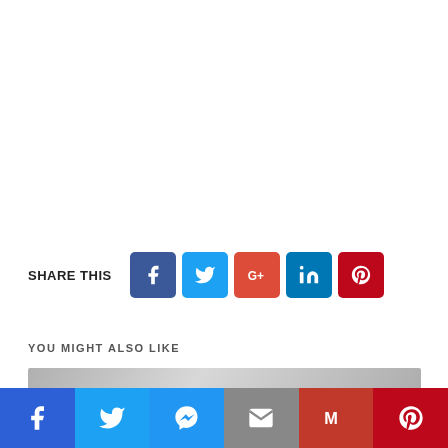SHARE THIS
[Figure (infographic): Social share buttons: Facebook, Twitter, Google+, LinkedIn, Pinterest]
YOU MIGHT ALSO LIKE
[Figure (photo): Thumbnail image, blurred/greyed photo]
[Figure (infographic): Bottom floating share bar: Facebook, Twitter, Messenger, Email, Gmail, Pinterest]